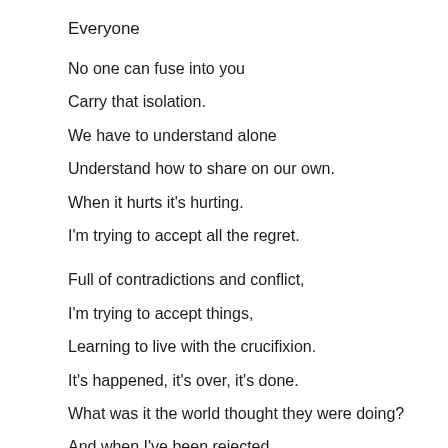Everyone
No one can fuse into you
Carry that isolation.
We have to understand alone
Understand how to share on our own.
When it hurts it's hurting.
I'm trying to accept all the regret.

Full of contradictions and conflict,
I'm trying to accept things,
Learning to live with the crucifixion.
It's happened, it's over, it's done.
What was it the world thought they were doing?
And when I've been rejected
There seems little incentive
To keep chasing the game.